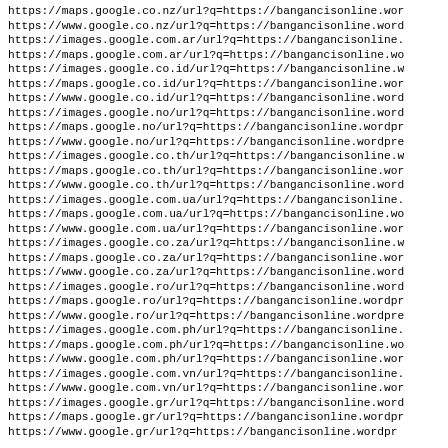https://maps.google.co.nz/url?q=https://bangancisonline.wor
https://www.google.co.nz/url?q=https://bangancisonline.word
https://images.google.com.ar/url?q=https://bangancisonline.
https://maps.google.com.ar/url?q=https://bangancisonline.wo
https://images.google.co.id/url?q=https://bangancisonline.w
https://maps.google.co.id/url?q=https://bangancisonline.wor
https://www.google.co.id/url?q=https://bangancisonline.word
https://images.google.no/url?q=https://bangancisonline.word
https://maps.google.no/url?q=https://bangancisonline.wordpr
https://www.google.no/url?q=https://bangancisonline.wordpre
https://images.google.co.th/url?q=https://bangancisonline.w
https://maps.google.co.th/url?q=https://bangancisonline.wor
https://www.google.co.th/url?q=https://bangancisonline.word
https://images.google.com.ua/url?q=https://bangancisonline.
https://maps.google.com.ua/url?q=https://bangancisonline.wo
https://www.google.com.ua/url?q=https://bangancisonline.wor
https://images.google.co.za/url?q=https://bangancisonline.w
https://maps.google.co.za/url?q=https://bangancisonline.wor
https://www.google.co.za/url?q=https://bangancisonline.word
https://images.google.ro/url?q=https://bangancisonline.word
https://maps.google.ro/url?q=https://bangancisonline.wordpr
https://www.google.ro/url?q=https://bangancisonline.wordpre
https://images.google.com.ph/url?q=https://bangancisonline.
https://maps.google.com.ph/url?q=https://bangancisonline.wo
https://www.google.com.ph/url?q=https://bangancisonline.wor
https://images.google.com.vn/url?q=https://bangancisonline.
https://www.google.com.vn/url?q=https://bangancisonline.wor
https://images.google.gr/url?q=https://bangancisonline.word
https://maps.google.gr/url?q=https://bangancisonline.wordpr
https://www.google.gr/url?q=https://bangancisonline.wordpr